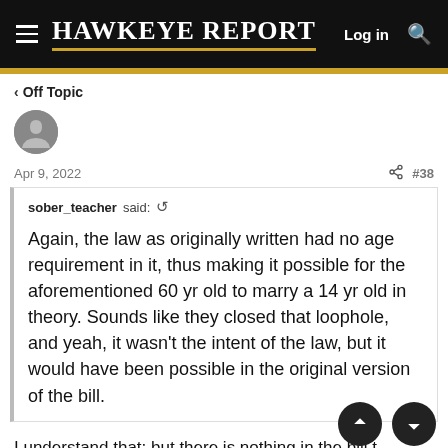Hawkeye Report — Log in
< Off Topic
Apr 9, 2022   #38
sober_teacher said: ↺

Again, the law as originally written had no age requirement in it, thus making it possible for the aforementioned 60 yr old to marry a 14 yr old in theory. Sounds like they closed that loophole, and yeah, it wasn't the intent of the law, but it would have been possible in the original version of the bill.
I understand that; but there is nothing in the bill that overrides the standing age regulations already on the